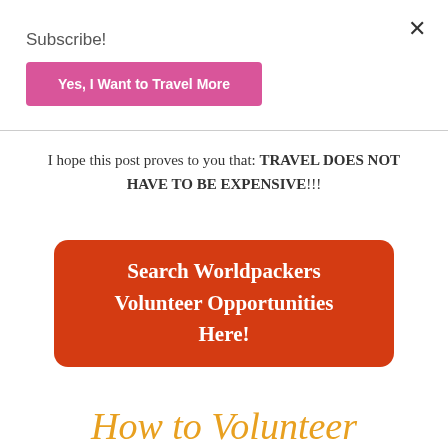×
Subscribe!
Yes, I Want to Travel More
I hope this post proves to you that: TRAVEL DOES NOT HAVE TO BE EXPENSIVE!!!
Search Worldpackers Volunteer Opportunities Here!
How to Volunteer